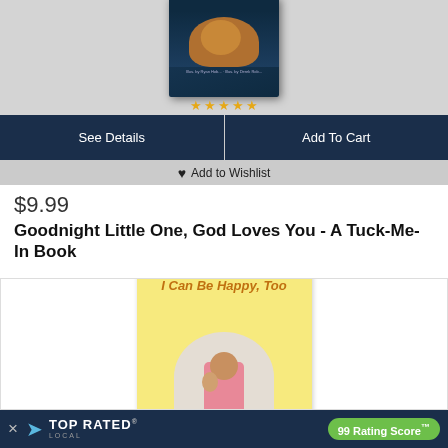[Figure (screenshot): Book cover for 'Goodnight Little One, God Loves You - A Tuck-Me-In Book' showing two chipmunks on a dark teal background with stars below]
See Details
Add To Cart
♥ Add to Wishlist
$9.99
Goodnight Little One, God Loves You - A Tuck-Me-In Book
[Figure (screenshot): Book cover for 'I Can Be Happy, Too' showing a girl with a puppy on a yellow background]
× TOP RATED LOCAL   99 Rating Score™